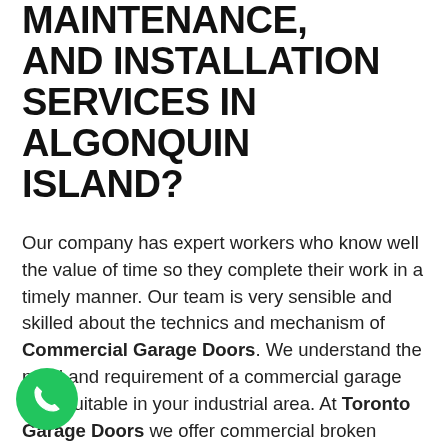MAINTENANCE, AND INSTALLATION SERVICES IN ALGONQUIN ISLAND?
Our company has expert workers who know well the value of time so they complete their work in a timely manner. Our team is very sensible and skilled about the technics and mechanism of Commercial Garage Doors. We understand the need and requirement of a commercial garage door suitable in your industrial area. At Toronto Garage Doors we offer commercial broken Garage Door Springs, wheels, and other important parts of the commercial garage doors. Toronto Garage Doors provides same-day commercial garage door service affordable prices and excellent quality anywhere in Algonquin Island. Commercial garage doors